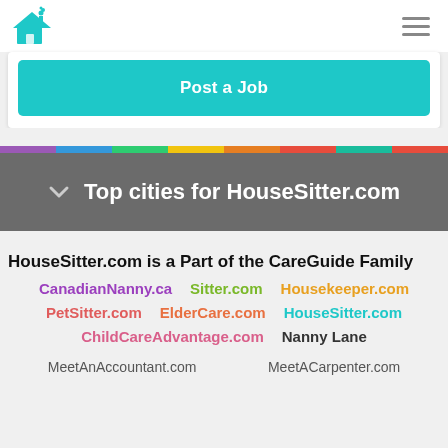HouseSitter.com logo and navigation menu
Post a Job
Top cities for HouseSitter.com
HouseSitter.com is a Part of the CareGuide Family
CanadianNanny.ca
Sitter.com
Housekeeper.com
PetSitter.com
ElderCare.com
HouseSitter.com
ChildCareAdvantage.com
Nanny Lane
MeetAnAccountant.com
MeetACarpenter.com